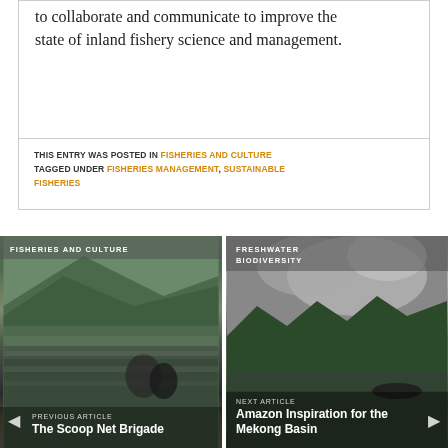to collaborate and communicate to improve the state of inland fishery science and management.
THIS ENTRY WAS POSTED IN FISHERIES AND CULTURE TAGGED UNDER FISHERIES MANAGEMENT, SUSTAINABLE FISHERIES
[Figure (photo): Left navigation card: river scene with people fishing, labeled FISHERIES AND CULTURE. Previous article: The Scoop Net Brigade]
[Figure (photo): Right navigation card: Amazon river scene with smoke/mist, labeled FRESHWATER BIODIVERSITY. Next article: Amazon Inspiration for the Mekong Basin]